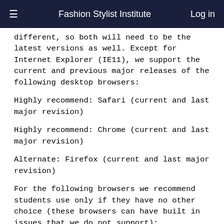Fashion Stylist Institute  Log in
different, so both will need to be the latest versions as well. Except for Internet Explorer (IE11), we support the current and previous major releases of the following desktop browsers:
Highly recommend: Safari (current and last major revision)
Highly recommend: Chrome (current and last major revision)
Alternate: Firefox (current and last major revision)
For the following browsers we recommend students use only if they have no other choice (these browsers can have built in issues that we do not support):
Slightly recommend: Opera (current and last major revision)